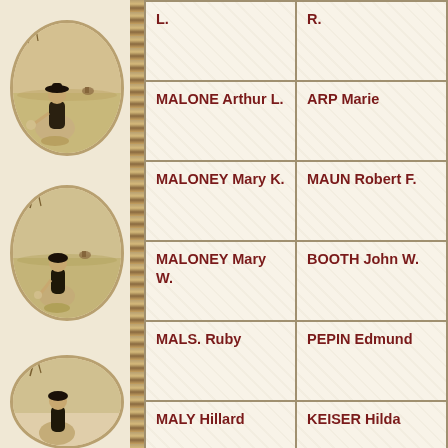[Figure (illustration): Decorative left panel with two oval medallion illustrations of a woman in period dress sitting outdoors with a horse and rider in background, sepia tones. A third partial medallion appears at bottom.]
| Name (Last First) | Spouse Name (Last First) |
| --- | --- |
| L. | R. |
| MALONE Arthur L. | ARP Marie |
| MALONEY Mary K. | MAUN Robert F. |
| MALONEY Mary W. | BOOTH John W. |
| MALS. Ruby | PEPIN Edmund |
| MALY Hillard | KEISER Hilda |
| MALY John W. | GROTHE Marie M |
| MANKAE Pauline | SCHUMACHER Michael |